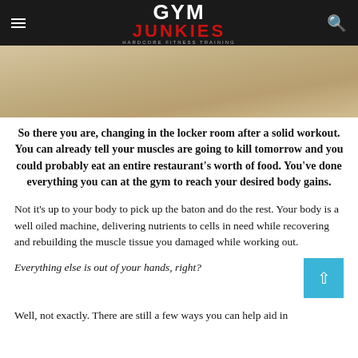GYM JUNKIES — HARDCORE FITNESS TRAINING
[Figure (photo): Partial hero image of a wooden surface or gym floor]
So there you are, changing in the locker room after a solid workout. You can already tell your muscles are going to kill tomorrow and you could probably eat an entire restaurant's worth of food. You've done everything you can at the gym to reach your desired body gains.
Not it's up to your body to pick up the baton and do the rest. Your body is a well oiled machine, delivering nutrients to cells in need while recovering and rebuilding the muscle tissue you damaged while working out.
Everything else is out of your hands, right?
Well, not exactly. There are still a few ways you can help aid in